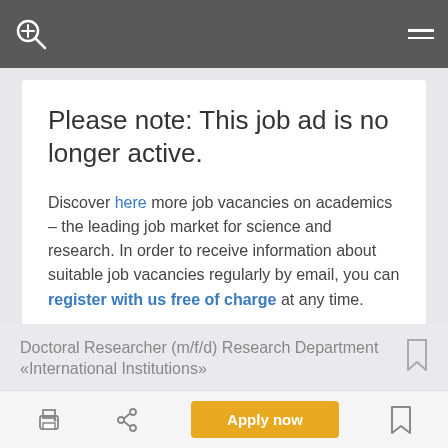Please note: This job ad is no longer active.
Discover here more job vacancies on academics – the leading job market for science and research. In order to receive information about suitable job vacancies regularly by email, you can register with us free of charge at any time.
Doctoral Researcher (m/f/d) Research Department «International Institutions»
Apply now